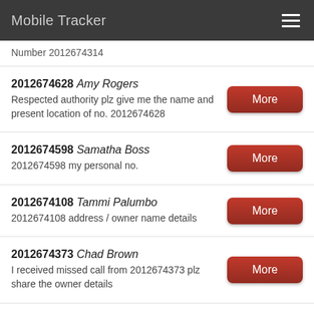Mobile Tracker
Number 2012674314
2012674628 Amy Rogers — Respected authority plz give me the name and present location of no. 2012674628
2012674598 Samatha Boss — 2012674598 my personal no.
2012674108 Tammi Palumbo — 2012674108 address / owner name details
2012674373 Chad Brown — I received missed call from 2012674373 plz share the owner details